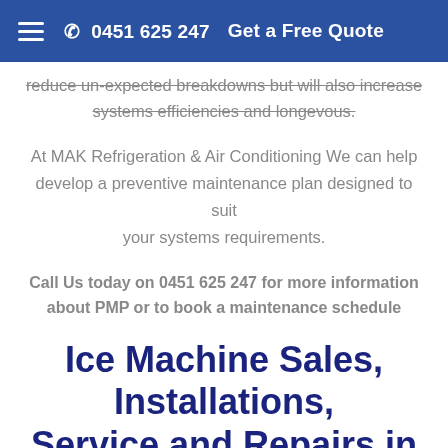☰  📞 0451 625 247   Get a Free Quote
reduce un-expected breakdowns but will also increase systems efficiencies and longevous.
At MAK Refrigeration & Air Conditioning We can help develop a preventive maintenance plan designed to suit your systems requirements.
Call Us today on 0451 625 247 for more information about PMP or to book a maintenance schedule
Ice Machine Sales, Installations, Service and Repairs in Wareemba